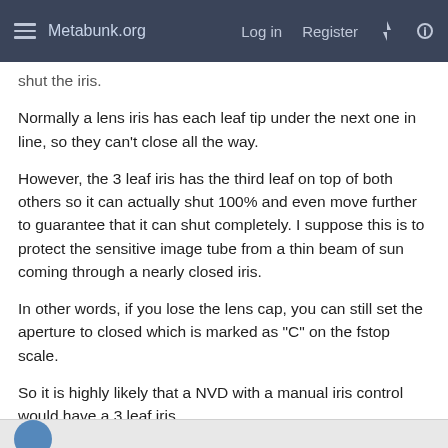Metabunk.org  Log in  Register
shut the iris.
Normally a lens iris has each leaf tip under the next one in line, so they can't close all the way.
However, the 3 leaf iris has the third leaf on top of both others so it can actually shut 100% and even move further to guarantee that it can shut completely. I suppose this is to protect the sensitive image tube from a thin beam of sun coming through a nearly closed iris.
In other words, if you lose the lens cap, you can still set the aperture to closed which is marked as "C" on the fstop scale.
So it is highly likely that a NVD with a manual iris control would have a 3 leaf iris.